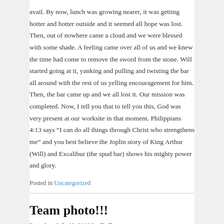avail. By now, lunch was growing nearer, it was getting hotter and hotter outside and it seemed all hope was lost. Then, out of nowhere came a cloud and we were blessed with some shade. A feeling came over all of us and we knew the time had come to remove the sword from the stone. Will started going at it, yanking and pulling and twisting the bar all around with the rest of us yelling encouragement for him. Then, the bar came up and we all lost it. Our mission was completed. Now, I tell you that to tell you this, God was very present at our worksite in that moment. Philippians 4:13 says “I can do all things through Christ who strengthens me” and you best believe the Joplin story of King Arthur (Will) and Excalibur (the spud bar) shows his mighty power and glory.
Posted in Uncategorized
Team photo!!!
Posted on July 12, 2018 by jhollman